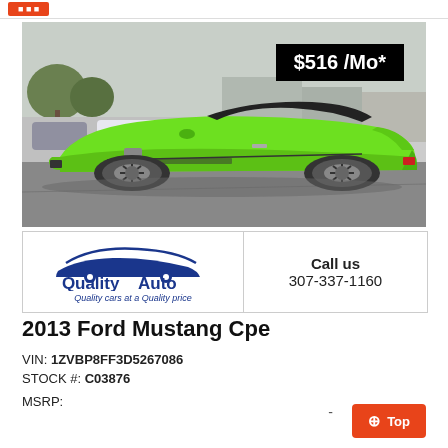[Figure (photo): Green 2013 Ford Mustang convertible coupe with black top, photographed from the side in a car dealership lot. The car has black chrome wheels and a bright green paint finish.]
$516 /Mo*
[Figure (logo): Quality Auto dealership logo with a blue car silhouette and the text 'Quality Auto' in dark blue. Tagline: 'Quality cars at a Quality price']
Call us
307-337-1160
2013 Ford Mustang Cpe
VIN: 1ZVBP8FF3D5267086
STOCK #: C03876
MSRP: